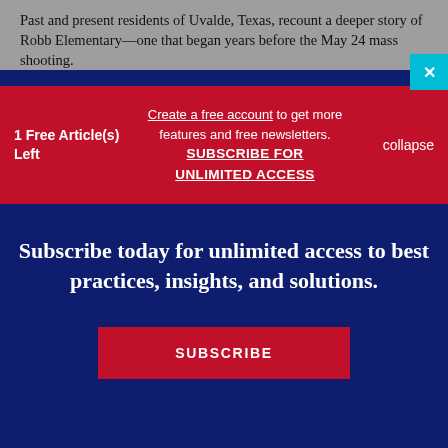Past and present residents of Uvalde, Texas, recount a deeper story of Robb Elementary—one that began years before the May 24 mass shooting.
1 Free Article(s) Left
Create a free account to get more features and free newsletters.
SUBSCRIBE FOR UNLIMITED ACCESS
collapse
Subscribe today for unlimited access to best practices, insights, and solutions.
SUBSCRIBE